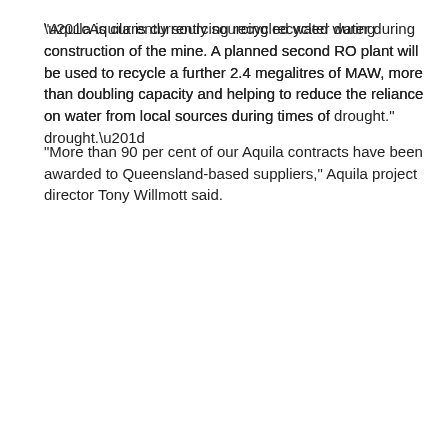“Aquila is currently sourcing recycled water during construction of the mine. A planned second RO plant will be used to recycle a further 2.4 megalitres of MAW, more than doubling capacity and helping to reduce the reliance on water from local sources during times of drought.”
As well as slashing water usage, Anglo American is committed to awarding contracts to local businesses for the $240 million Aquila mine.
“More than 90 per cent of our Aquila contracts have been awarded to Queensland-based suppliers,” Aquila project director Tony Willmott said.
“Aquila’s integrated network of pipes and pumps is securing the distribution of high-quality water necessary in metallurgical coal mining for equipment cooling and coal cutting operations.”
[Figure (other): Orange rounded button with a plus (+) sign, overlaid on the page content]
mine will extend Anglo American’s e Capcoal complex by si
Aquila forms part of the Capcoal joint venture, of which Anglo American holds 70 per cent and Mitsui and Co the remaining 30 per